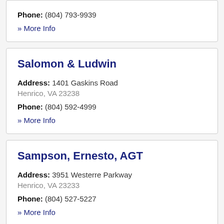Phone: (804) 793-9939
» More Info
Salomon & Ludwin
Address: 1401 Gaskins Road
Henrico, VA 23238
Phone: (804) 592-4999
» More Info
Sampson, Ernesto, AGT
Address: 3951 Westerre Parkway
Henrico, VA 23233
Phone: (804) 527-5227
» More Info